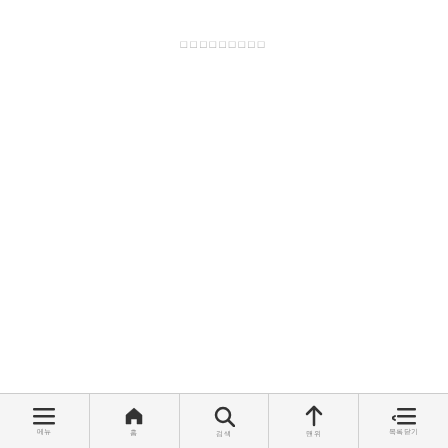□□□□□□□□□
☰ 메뉴  🏠 홈  🔍 검색  ↑ 맨위  ≡← 목록닫기